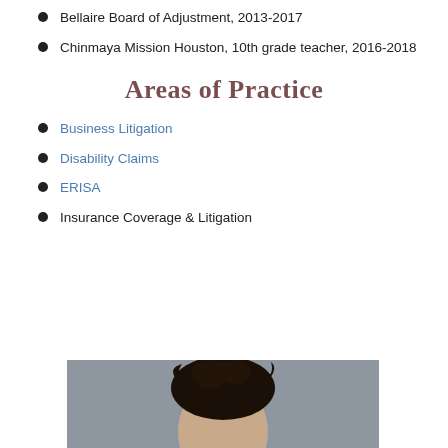Bellaire Board of Adjustment, 2013-2017
Chinmaya Mission Houston, 10th grade teacher, 2016-2018
Areas of Practice
Business Litigation
Disability Claims
ERISA
Insurance Coverage & Litigation
[Figure (photo): Partial photo of a person, showing top of head with dark hair against a gray background]